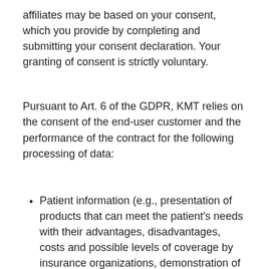affiliates may be based on your consent, which you provide by completing and submitting your consent declaration. Your granting of consent is strictly voluntary.
Pursuant to Art. 6 of the GDPR, KMT relies on the consent of the end-user customer and the performance of the contract for the following processing of data:
Patient information (e.g., presentation of products that can meet the patient's needs with their advantages, disadvantages, costs and possible levels of coverage by insurance organizations, demonstration of the functioning of the devices, guarantee conditions and the usual lifespan);